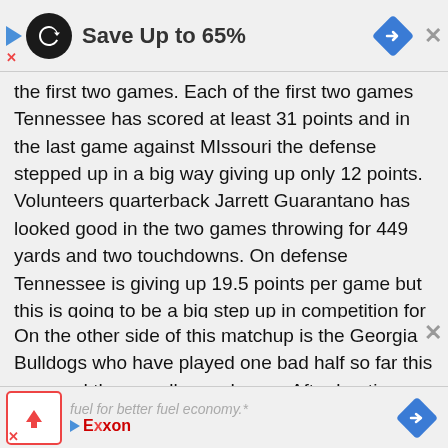[Figure (screenshot): Top advertisement banner showing a circular dark icon with infinity/loop symbol, text 'Save Up to 65%', a blue diamond navigation icon, and an X close button]
The re[maining text cut off]...they finally [text cut off]...good in each of the first two games. Each of the first two games Tennessee has scored at least 31 points and in the last game against MIssouri the defense stepped up in a big way giving up only 12 points. Volunteers quarterback Jarrett Guarantano has looked good in the two games throwing for 449 yards and two touchdowns. On defense Tennessee is giving up 19.5 points per game but this is going to be a big step up in competition for them.
On the other side of this matchup is the Georgia Bulldogs who have played one bad half so far this year and three really good ones. After beating Arkansas in Week 1 there was a lot of chatter about how Auburn might give the Bulldogs some trouble. Georgia has a very talented defense and they showed that against Auburn giving up
[Figure (screenshot): Bottom advertisement banner showing an up-arrow button, Exxon logo, text 'fuel for better fuel economy.*' and 'Need diesel fuel? Try Exxon', a blue diamond navigation icon, and an X close button]